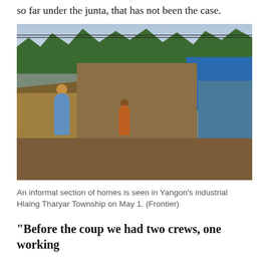so far under the junta, that has not been the case.
[Figure (photo): An informal settlement with thatched-roof huts, corrugated metal sheds, a blue tarp structure on the right, two children standing in a dirt yard, power lines overhead, and trees in the background in Yangon's Hlaing Tharyar Township.]
An informal section of homes is seen in Yangon's industrial Hlaing Tharyar Township on May 1. (Frontier)
“Before the coup we had two crews, one working